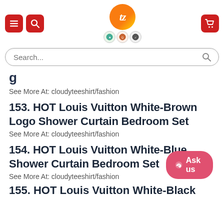[Figure (screenshot): Website header with hamburger menu icon, search icon (both red rounded square buttons), center logo (orange circle with 'tz' text and quality badges below), and red cart button on the right]
[Figure (screenshot): Search bar with placeholder 'Search...' and magnifying glass icon, rounded border]
See More At: cloudyteeshirt/fashion
153. HOT Louis Vuitton White-Brown Logo Shower Curtain Bedroom Set
See More At: cloudyteeshirt/fashion
154. HOT Louis Vuitton White-Blue Shower Curtain Bedroom Set
See More At: cloudyteeshirt/fashion
155. HOT Louis Vuitton White-Black